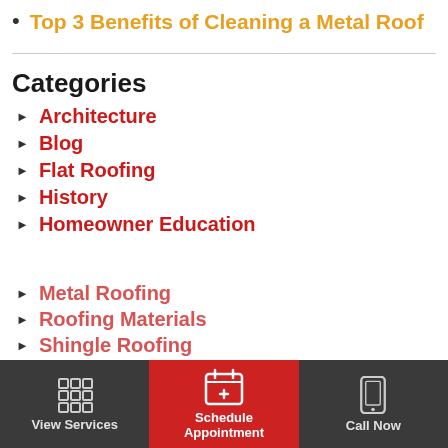Top 3 Benefits of Cleaning a Metal Roof
Categories
Architecture
Blog
Flat Roofing
History
Homeowner Education
Metal Roofing
Roofing Materials
Shingle Roofing
View Services | Schedule Appointment | Call Now